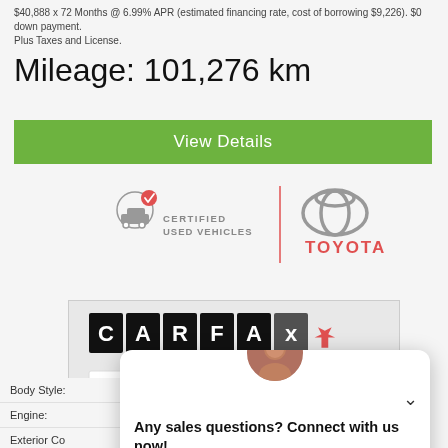$40,888 x 72 Months @ 6.99% APR (estimated financing rate, cost of borrowing $9,226). $0 down payment.
Plus Taxes and License.
Mileage: 101,276 km
View Details
[Figure (logo): Toyota Certified Used Vehicles logo with Toyota emblem]
[Figure (logo): CARFAX Canada logo with VIEW REPORT button]
| Body Style: |  |
| Engine: |  |
| Exterior Co |  |
| Transmissi |  |
| Drivetrain: |  |
Any sales questions? Connect with us now!
TEXT
CHAT